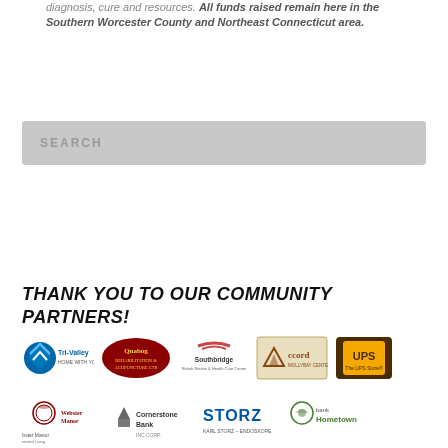diagnosis, cure and resources. All funds raised remain here in the Southern Worcester County and Northeast Connecticut area.
[Figure (screenshot): Search box with placeholder text 'SEARCH']
THANK YOU TO OUR COMMUNITY PARTNERS!
[Figure (logo): Row 1 sponsor logos: Tri-Valley, Quabog (Rehabilitation & Acupuncture Center), Southbridge Rehabilitation & Health Care Center, Accord Mollybay Center, The UPS Store]
[Figure (logo): Row 2 sponsor logos: Webster Manor, Cornerstone Bank, STORZ Karl Storz Endoskope, bankHometown]